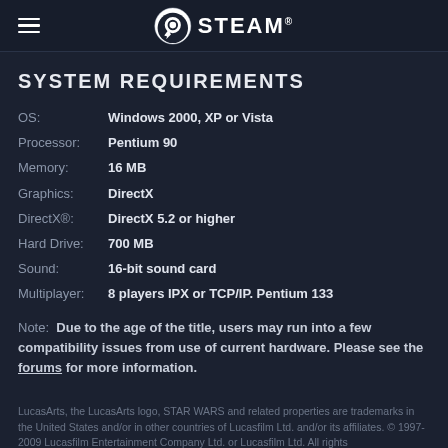STEAM
SYSTEM REQUIREMENTS
OS:  Windows 2000, XP or Vista
Processor:  Pentium 90
Memory:  16 MB
Graphics:  DirectX
DirectX®:  DirectX 5.2 or higher
Hard Drive:  700 MB
Sound:  16-bit sound card
Multiplayer:  8 players IPX or TCP/IP. Pentium 133
Note:  Due to the age of the title, users may run into a few compatibility issues from use of current hardware. Please see the forums for more information.
LucasArts, the LucasArts logo, STAR WARS and related properties are trademarks in the United States and/or in other countries of Lucasfilm Ltd. and/or its affiliates. © 1997-2009 Lucasfilm Entertainment Company Ltd. or Lucasfilm Ltd. All rights